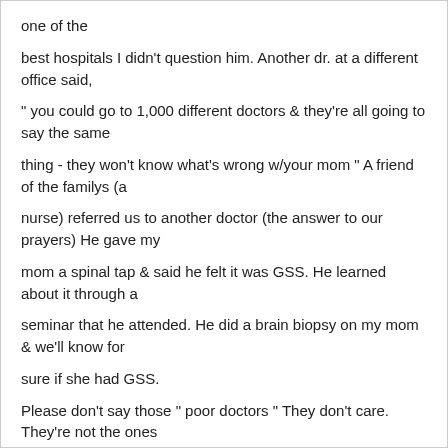one of the
best hospitals I didn't question him. Another dr. at a different office said,
" you could go to 1,000 different doctors & they're all going to say the same
thing - they won't know what's wrong w/your mom " A friend of the familys (a
nurse) referred us to another doctor (the answer to our prayers) He gave my
mom a spinal tap & said he felt it was GSS. He learned about it through a
seminar that he attended. He did a brain biopsy on my mom & we'll know for
sure if she had GSS.
Please don't say those " poor doctors " They don't care. They're not the ones
dying,